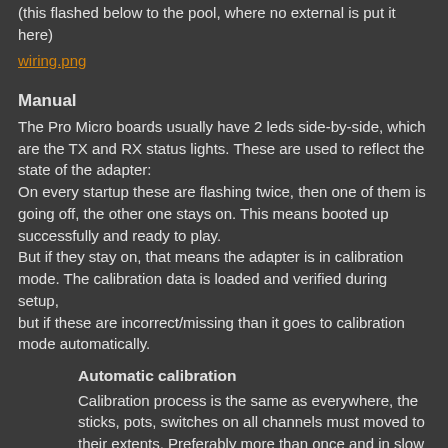(this flashed below to the pool, where no external is put it here)
wiring.png
Manual
The Pro Micro boards usually have 2 leds side-by-side, which are the TX and RX status lights. These are used to reflect the state of the adapter:
On every startup these are flashing twice, then one of them is going off, the other one stays on. This means booted up successfully and ready to play.
But if they stay on, that means the adapter is in calibration mode. The calibration data is loaded and verified during setup,
but if these are incorrect/missing than it goes to calibration mode automatically.
Automatic calibration
Calibration process is the same as everywhere, the sticks, pots, switches on all channels must moved to their extents. Preferably more than once and in slow motion.
The leds are lit